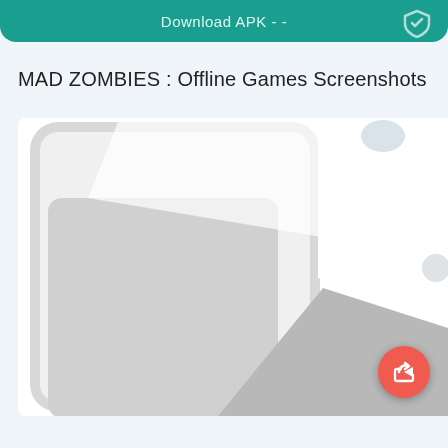Download APK - -
MAD ZOMBIES : Offline Games Screenshots
[Figure (screenshot): A blurred/loading screenshot of the MAD ZOMBIES game app, showing grey placeholder shapes on a white background with rounded phone device outline visible. A small circular grey element is visible in the upper right. A coral/red floating action button with a share/forward arrow icon is in the bottom-right corner.]